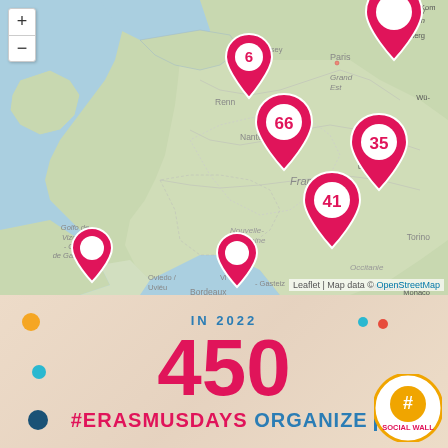[Figure (map): Interactive map showing France and surrounding regions with pink location pins numbered 6, 66, 35, 41 and two unnumbered pins. Map shows geographic labels including Guernsey, Paris, Grand Est, Lëtzebuerg, Rennes, Nantes, France, Nouvelle-Aquitaine, Golfo de Vizcaya - Golfe de Gascogne, Bordeaux, Occitonie, Marseille, Oviedo/Uviéu, Gasteiz, Torino, Monaco, Schwe-isse/Svi-Svizra, Kom-Belgen. Map attribution: Leaflet | Map data © OpenStreetMap]
IN 2022
450
#ERASMUSDAYS ORGANIZER